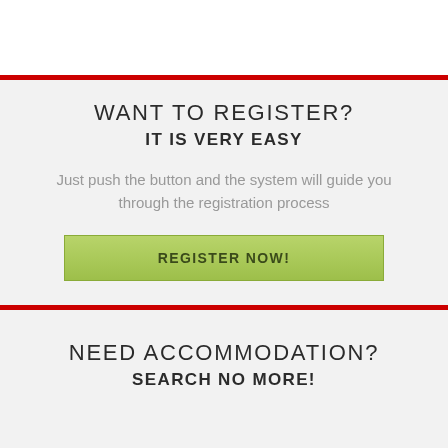WANT TO REGISTER?
IT IS VERY EASY
Just push the button and the system will guide you through the registration process
REGISTER NOW!
NEED ACCOMMODATION?
SEARCH NO MORE!